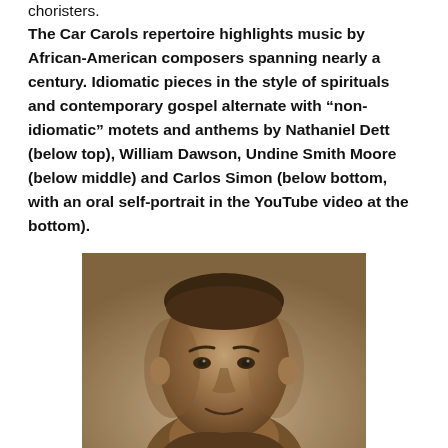choristers.
The Car Carols repertoire highlights music by African-American composers spanning nearly a century. Idiomatic pieces in the style of spirituals and contemporary gospel alternate with “non-idiomatic” motets and anthems by Nathaniel Dett (below top), William Dawson, Undine Smith Moore (below middle) and Carlos Simon (below bottom, with an oral self-portrait in the YouTube video at the bottom).
[Figure (photo): Sepia-toned portrait photograph of a young African-American man, close-up of face and upper shoulders, looking slightly to the side.]